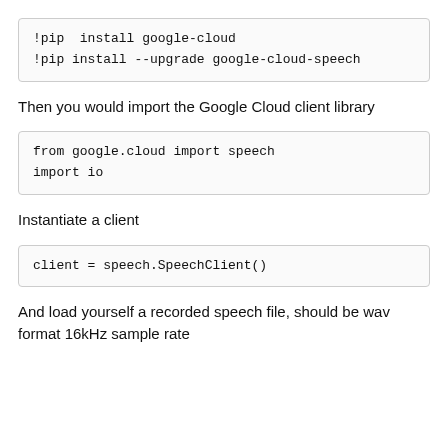!pip  install google-cloud
!pip install --upgrade google-cloud-speech
Then you would import the Google Cloud client library
from google.cloud import speech
import io
Instantiate a client
client = speech.SpeechClient()
And load yourself a recorded speech file, should be wav format 16kHz sample rate